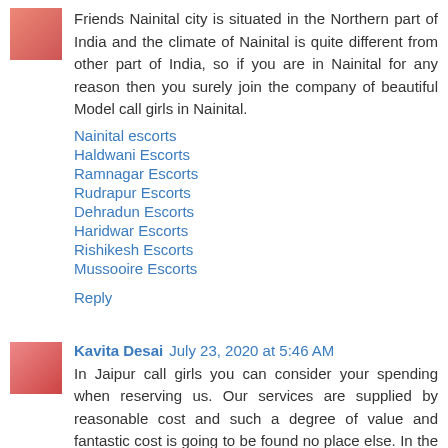[Figure (photo): Small avatar photo of a person in pink top]
Friends Nainital city is situated in the Northern part of India and the climate of Nainital is quite different from other part of India, so if you are in Nainital for any reason then you surely join the company of beautiful Model call girls in Nainital.
Nainital escorts
Haldwani Escorts
Ramnagar Escorts
Rudrapur Escorts
Dehradun Escorts
Haridwar Escorts
Rishikesh Escorts
Mussooire Escorts
Reply
[Figure (photo): Small avatar photo of a person in pink dress]
Kavita Desai July 23, 2020 at 5:46 AM
In Jaipur call girls you can consider your spending when reserving us. Our services are supplied by reasonable cost and such a degree of value and fantastic cost is going to be found no place else. In the event you want to speak to our